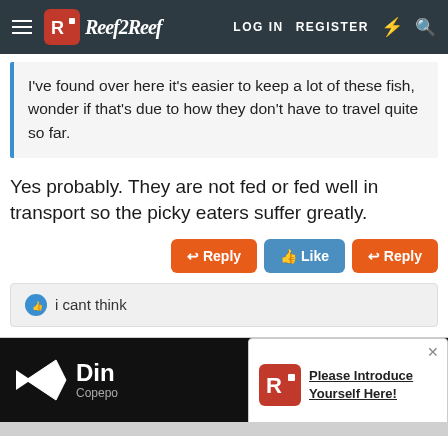Reef2Reef | LOG IN  REGISTER
I've found over here it's easier to keep a lot of these fish, wonder if that's due to how they don't have to travel quite so far.
Yes probably. They are not fed or fed well in transport so the picky eaters suffer greatly.
i cant think
[Figure (screenshot): Bottom banner with Dino Copepods advertisement and a popup notification saying 'Please Introduce Yourself Here!']